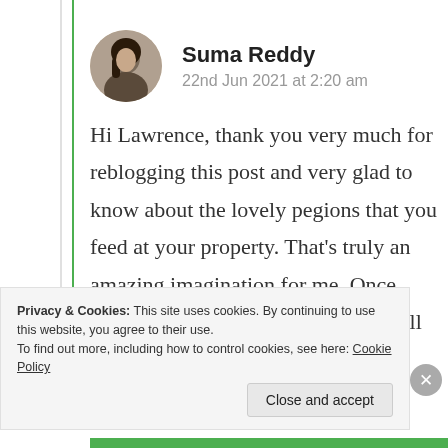Suma Reddy
22nd Jun 2021 at 2:20 am
Hi Lawrence, thank you very much for reblogging this post and very glad to know about the lovely pegions that you feed at your property. That's truly an amazing imagination for me. Once again thanks for your blessings. I will
Privacy & Cookies: This site uses cookies. By continuing to use this website, you agree to their use.
To find out more, including how to control cookies, see here: Cookie Policy
Close and accept